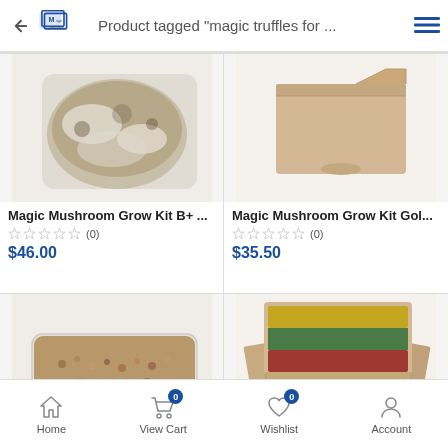Product tagged "magic truffles for ..."
[Figure (photo): Magic Mushroom Grow Kit B+ product image - substrate in clear plastic container with white mycelium]
Magic Mushroom Grow Kit B+ ...
(0)
$46.00
[Figure (photo): Magic Mushroom Grow Kit Golden product image - cardboard box closed]
Magic Mushroom Grow Kit Gol...
(0)
$35.50
[Figure (photo): Magic Mushroom Grow Kit - grain/substrate in clear rectangular container]
[Figure (photo): Magic Mushroom Grow Kit - open cardboard box with Lithuanian flag colors on lid and substrate block inside]
Home   View Cart 0   Wishlist 0   Account